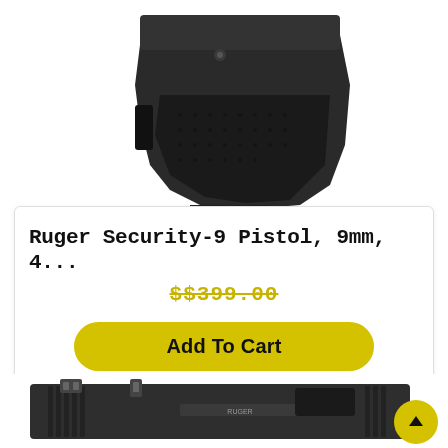[Figure (photo): Close-up photo of a black gun grip/handle accessory with textured surface and mounting hardware, shown on white background]
Ruger Security-9 Pistol, 9mm, 4...
$$399.00
Add To Cart
[Figure (photo): Close-up photo of the rear top of a pistol slide showing sights and slide serrations, with a yellow scroll-to-top button in the lower right corner]